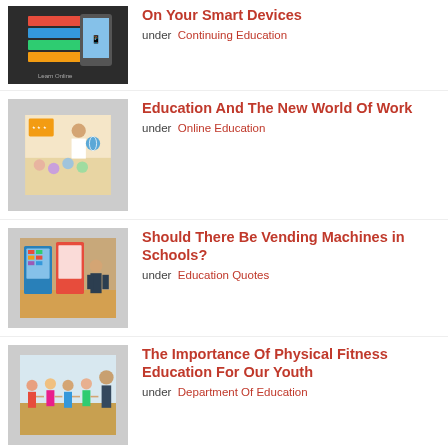[Figure (photo): Stack of books with digital tablets]
On Your Smart Devices
under Continuing Education
[Figure (photo): Teacher with students in classroom]
Education And The New World Of Work
under Online Education
[Figure (photo): Students at vending machines in school hallway]
Should There Be Vending Machines in Schools?
under Education Quotes
[Figure (photo): Children doing physical fitness exercise holding hands]
The Importance Of Physical Fitness Education For Our Youth
under Department Of Education
[Figure (photo): Financial charts and keyboard]
College Price range Cuts and Special Education – Is it Legal and What is Their Motivation?